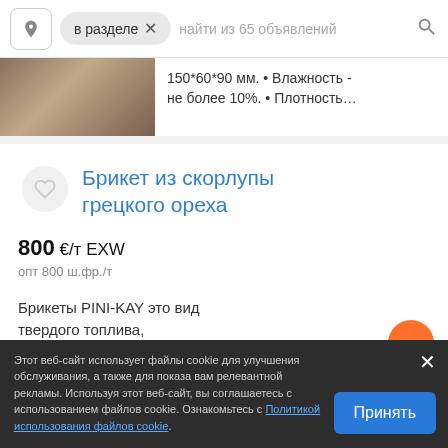[Figure (screenshot): Search bar with location icon, 'в разделе' filter chip with X, and placeholder text 'найти из 65 объявлений' with search icon]
150*60*90 мм. • Влажность - не более 10%. • Плотность...
Брикет из скорлупы грецкого ореха
800 €/т EXW
опт 800 ш.фр./т
Брикеты PINI-KAY это вид твердого топлива, альтернатива обычным дровам или углю. За счет...
Этот веб-сайт использует файлы cookie для улучшения обслуживания, а также для показа вам релевантной рекламы. Используя этот веб-сайт, вы соглашаетесь с использованием файлов cookie. Ознакомьтесь с Политикой использования файлов cookie.
Принять